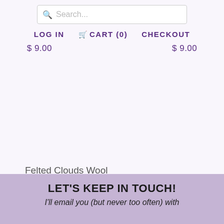Search...
LOG IN   CART (0)   CHECKOUT
$ 9.00   $ 9.00
Felted Clouds Wool
Cat Toy DYE FREE
☆☆☆☆☆ No reviews
$ 7.00
LET'S KEEP IN TOUCH! I'll email you (but never too often) with